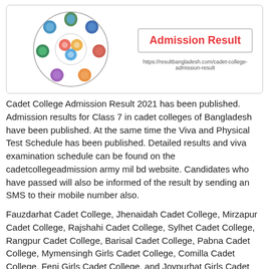[Figure (illustration): Circular logo with multiple cadet college emblems/shields arranged around a central design, next to a bordered box with red text 'Admission Result' and a URL below it.]
Cadet College Admission Result 2021 has been published. Admission results for Class 7 in cadet colleges of Bangladesh have been published. At the same time the Viva and Physical Test Schedule has been published. Detailed results and viva examination schedule can be found on the cadetcollegeadmission army mil bd website. Candidates who have passed will also be informed of the result by sending an SMS to their mobile number also.
Fauzdarhat Cadet College, Jhenaidah Cadet College, Mirzapur Cadet College, Rajshahi Cadet College, Sylhet Cadet College, Rangpur Cadet College, Barisal Cadet College, Pabna Cadet College, Mymensingh Girls Cadet College, Comilla Cadet College, Feni Girls Cadet College, and Joypurhat Girls Cadet college results have been published simultaneously. Candidates who have passed will also be informed of the result by sending an